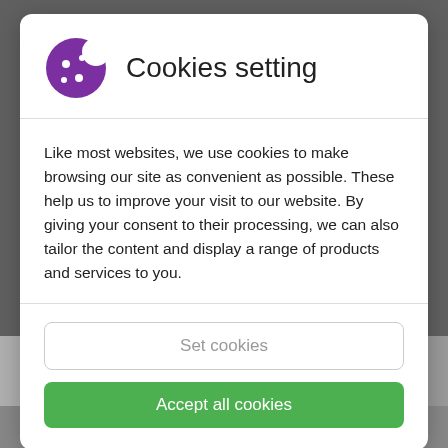Cookies setting
Like most websites, we use cookies to make browsing our site as convenient as possible. These help us to improve your visit to our website. By giving your consent to their processing, we can also tailor the content and display a range of products and services to you.
[Figure (screenshot): Cookie consent modal dialog with 'Set cookies' and 'Accept all cookies' buttons, overlaying a background photo of storage boxes]
[Figure (photo): Photo of red and orange storage boxes or containers in the background]